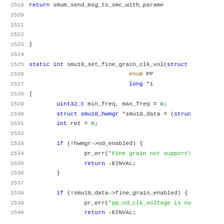[Figure (screenshot): Source code snippet showing C code lines 1519-1540 with syntax highlighting. Functions and keywords in blue/purple, strings in green, numbers in green, line numbers in gray.]